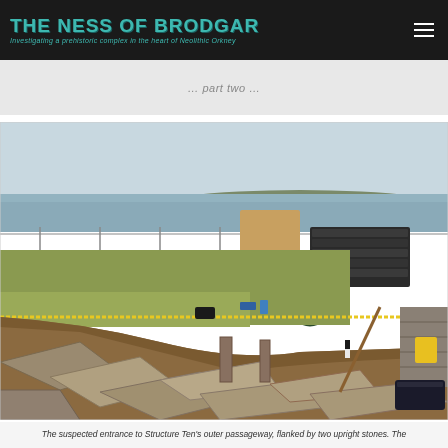THE NESS OF BRODGAR — Investigating a prehistoric complex in the heart of Neolithic Orkney
[Figure (photo): Archaeological excavation site at the Ness of Brodgar showing the suspected entrance to Structure Ten's outer passageway, with large flat stone slabs in the foreground, a section cut through layered soil, tools and equipment visible, and a loch with rolling hills in the background.]
The suspected entrance to Structure Ten's outer passageway, flanked by two upright stones. The